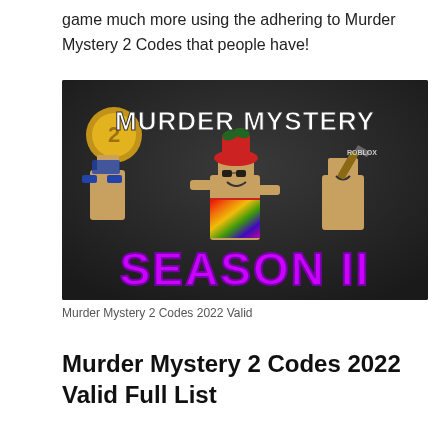game much more using the adhering to Murder Mystery 2 Codes that people have!
[Figure (screenshot): Murder Mystery 2 Season 11 promotional game image showing Roblox characters with text 'MURDER MYSTERY' and 'SEASON 11' in purple letters on dark background]
Murder Mystery 2 Codes 2022 Valid
Murder Mystery 2 Codes 2022 Valid Full List